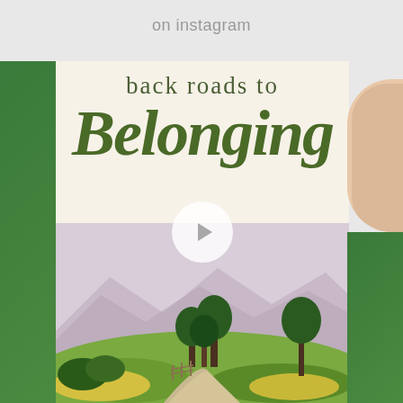on instagram
[Figure (photo): A person holding a book titled 'Back Roads to Belonging: Unexpected Paths to Finding Your Place and Your People'. The book cover features olive/dark green script lettering and an illustrated rural landscape with trees, rolling green fields, a winding dirt path, and mountains in the background. The person is wearing a green top. A video play button overlay is visible in the center of the image.]